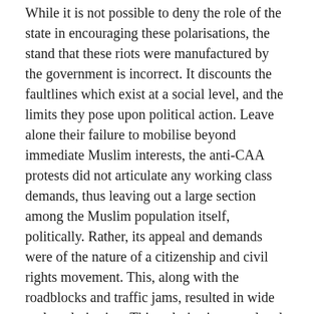While it is not possible to deny the role of the state in encouraging these polarisations, the stand that these riots were manufactured by the government is incorrect. It discounts the faultlines which exist at a social level, and the limits they pose upon political action. Leave alone their failure to mobilise beyond immediate Muslim interests, the anti-CAA protests did not articulate any working class demands, thus leaving out a large section among the Muslim population itself, politically. Rather, its appeal and demands were of the nature of a citizenship and civil rights movement. This, along with the roadblocks and traffic jams, resulted in wide scale polarisation. This polarisation translated first into an electoral battle, and once the Hindu right-wing lost that, it took the form of a sectarian clash.
Most violence began between pro and anti CAA protestors on the 24th Feb at road intersections where protests were ongoing just before. After fights and scuffles there, the